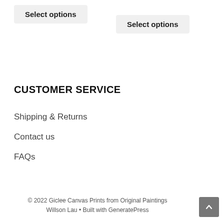Select options
Select options
CUSTOMER SERVICE
Shipping & Returns
Contact us
FAQs
© 2022 Giclee Canvas Prints from Original Paintings Willson Lau • Built with GeneratePress